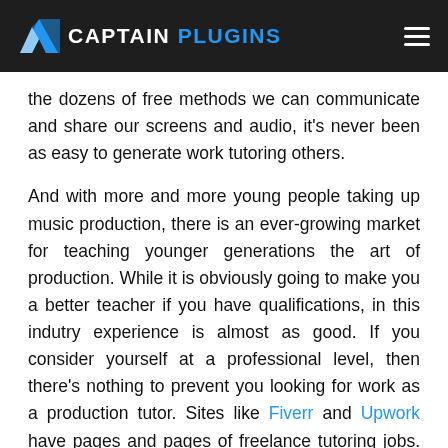CAPTAIN PLUGINS
the dozens of free methods we can communicate and share our screens and audio, it's never been as easy to generate work tutoring others.
And with more and more young people taking up music production, there is an ever-growing market for teaching younger generations the art of production. While it is obviously going to make you a better teacher if you have qualifications, in this indutry experience is almost as good. If you consider yourself at a professional level, then there's nothing to prevent you looking for work as a production tutor. Sites like Fiverr and Upwork have pages and pages of freelance tutoring jobs. Which brings us on to number 6…